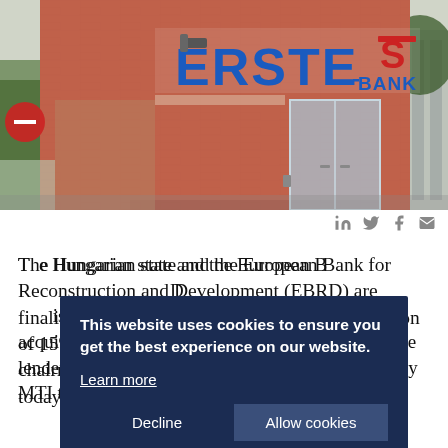[Figure (photo): Exterior photo of an Erste Bank branch building. Red brick facade with large blue 'ERSTE' letters and red logo sign. Glass entrance doors visible. Trees on either side.]
[Figure (infographic): Social sharing icons: LinkedIn, Twitter, Facebook, Email — displayed in grey]
The Hungarian state and the European Bank for Reconstruction and Development (EBRD) are finalising the final negotiations for their acquisition of 15% stake in Erste Bank Hungary, the lender's chairman-CEO told Hungarian news agency MTI today.
This website uses cookies to ensure you get the best experience on our website.
Learn more
Decline
Allow cookies